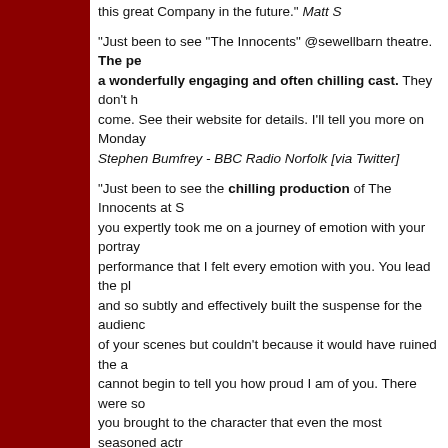this great Company in the future." Matt S
"Just been to see “The Innocents” @sewellbarn theatre. The pe... a wonderfully engaging and often chilling cast. They don’t h... come. See their website for details. I’ll tell you more on Monday... Stephen Bumfrey - BBC Radio Norfolk [via Twitter]
"Just been to see the chilling production of The Innocents at S... you expertly took me on a journey of emotion with your portraya... performance that I felt every emotion with you. You lead the pla... and so subtly and effectively built the suspense for the audienc... of your scenes but couldn't because it would have ruined the at... cannot begin to tell you how proud I am of you. There were so m... you brought to the character that even the most seasoned actre... have achieved. I was particularly impressed with the vulnerabili... maintaining the characters natural reserve and restraint, somet... Congratulations and enjoy the rest of your run." Laura W
"This retelling of a classic Henry James tale is a menacing and ... chills than the winter weather... The small cast is led by Megan ... Giddens. She puts in an exceptional performance, with her initia... mental and physical decline. Along with her the audience can n... 'ghosts' are real, or part of her imagination; Artherton's tension a... palpable... This dark and provocative tale with an outstandin... makes for a spooky winter treat." [Click here for full review.]